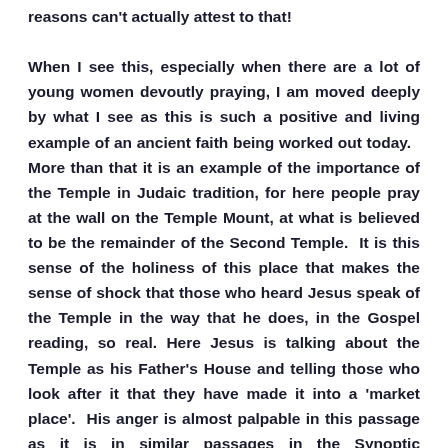reasons can't actually attest to that! When I see this, especially when there are a lot of young women devoutly praying, I am moved deeply by what I see as this is such a positive and living example of an ancient faith being worked out today.  More than that it is an example of the importance of the Temple in Judaic tradition, for here people pray at the wall on the Temple Mount, at what is believed to be the remainder of the Second Temple.  It is this sense of the holiness of this place that makes the sense of shock that those who heard Jesus speak of the Temple in the way that he does, in the Gospel reading, so real. Here Jesus is talking about the Temple as his Father's House and telling those who look after it that they have made it into a 'market place'.  His anger is almost palpable in this passage as it is in similar passages in the Synoptic Gospels.   And more than that he tells them if they destroy the Temple he would rebuild it in three days.  People then seemed to take what he said literally but the disciples here is a foreshadowing of his death and resurrection which as we see the disciples remembered.